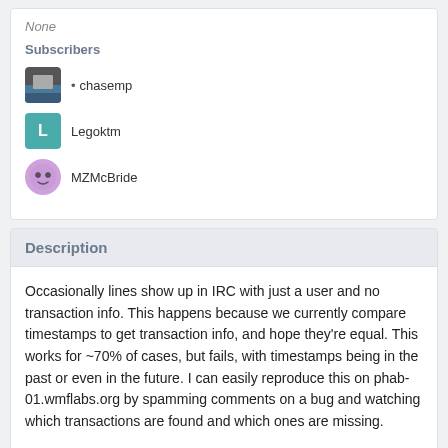None
Subscribers
chasemp
Legoktm
MZMcBride
Description
Occasionally lines show up in IRC with just a user and no transaction info. This happens because we currently compare timestamps to get transaction info, and hope they're equal. This works for ~70% of cases, but fails, with timestamps being in the past or even in the future. I can easily reproduce this on phab-01.wmflabs.org by spamming comments on a bug and watching which transactions are found and which ones are missing.
On https://phab-01.wmflabs.org/T110: comment "eeek41" had an epoch of 1416804529 from feed.query, but in